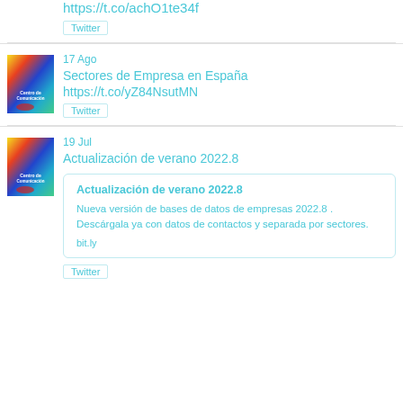https://t.co/achO1te34f
Twitter
17 Ago
Sectores de Empresa en España https://t.co/yZ84NsutMN
Twitter
19 Jul
Actualización de verano 2022.8
Actualización de verano 2022.8
Nueva versión de bases de datos de empresas 2022.8 . Descárgala ya con datos de contactos y separada por sectores.
bit.ly
Twitter